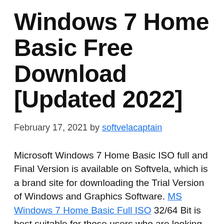Windows 7 Home Basic Free Download [Updated 2022]
February 17, 2021 by softvelacaptain
Microsoft Windows 7 Home Basic ISO full and Final Version is available on Softvela, which is a brand site for downloading the Trial Version of Windows and Graphics Software. MS Windows 7 Home Basic Full ISO 32/64 Bit is best suitable for those users who are looking to install and use the Windows 7 in